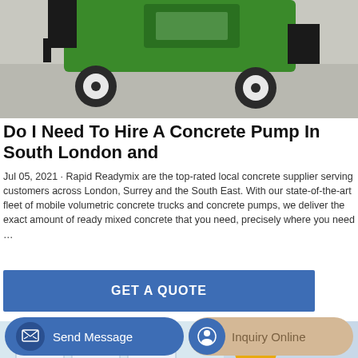[Figure (photo): Top portion of a green and black concrete pump / construction vehicle on a grey surface]
Do I Need To Hire A Concrete Pump In South London and
Jul 05, 2021 · Rapid Readymix are the top-rated local concrete supplier serving customers across London, Surrey and the South East. With our state-of-the-art fleet of mobile volumetric concrete trucks and concrete pumps, we deliver the exact amount of ready mixed concrete that you need, precisely where you need …
GET A QUOTE
[Figure (photo): Yellow concrete mixer machine in front of a building with blue and white facade]
Send Message
Inquiry Online